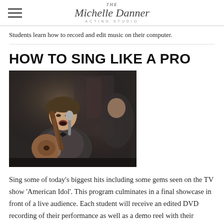THE Michelle Danner ACTING STUDIO
Students learn how to record and edit music on their computer.
HOW TO SING LIKE A PRO
[Figure (photo): A young male singer performing on stage, holding a microphone and playing an acoustic guitar, wearing a suit jacket and bow tie.]
Sing some of today's biggest hits including some gems seen on the TV show 'American Idol'.  This program culminates in a final showcase in front of a live audience.  Each student will receive an edited DVD recording of their performance as well as a demo reel with their